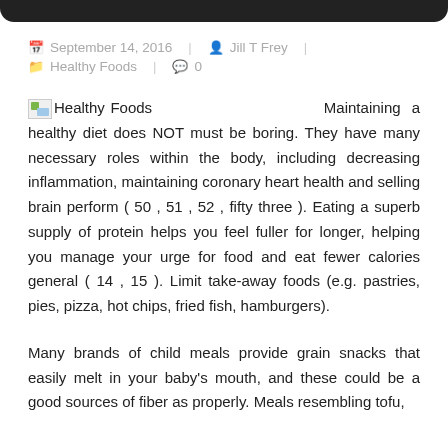September 14, 2016   Jill T Frey   Healthy Foods   0
Healthy Foods   Maintaining a healthy diet does NOT must be boring. They have many necessary roles within the body, including decreasing inflammation, maintaining coronary heart health and selling brain perform ( 50 , 51 , 52 , fifty three ). Eating a superb supply of protein helps you feel fuller for longer, helping you manage your urge for food and eat fewer calories general ( 14 , 15 ). Limit take-away foods (e.g. pastries, pies, pizza, hot chips, fried fish, hamburgers).
Many brands of child meals provide grain snacks that easily melt in your baby's mouth, and these could be a good sources of fiber as properly. Meals resembling tofu,